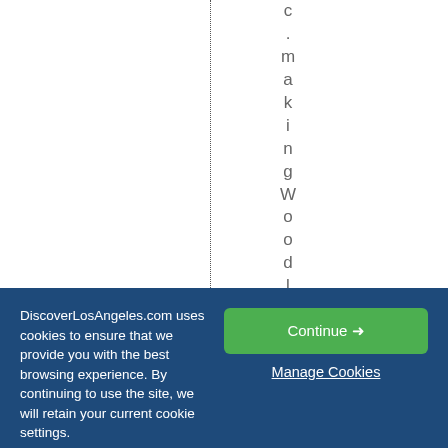c . m a k i n g W o o d l a n d H
DiscoverLosAngeles.com uses cookies to ensure that we provide you with the best browsing experience. By continuing to use the site, we will retain your current cookie settings.
Continue →
Manage Cookies